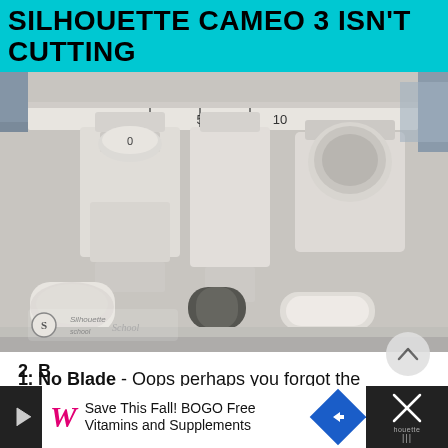SILHOUETTE CAMEO 3 ISN'T CUTTING
[Figure (photo): Close-up photo of Silhouette Cameo 3 cutting machine blade carriage and tool holders, showing white plastic components, a numbered ruler dial, and a Silhouette School logo watermark in the lower left.]
1. No Blade - Oops perhaps you forgot the Silhouette blade altogether! Just put it the slot, push it all the way down and turn the lock on the Silhouette cutting machine to lock the blade into place.
2. B...
[Figure (infographic): Advertisement bar: Save This Fall! BOGO Free Vitamins and Supplements (Walgreens ad) with close button showing Silhouette logo.]